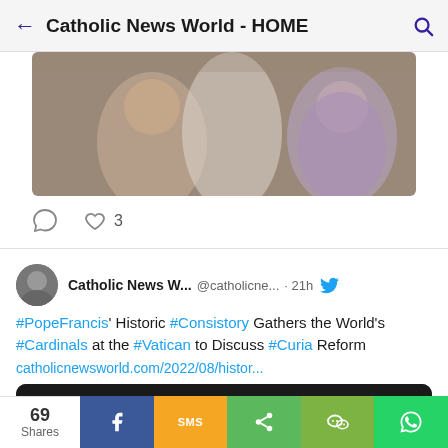Catholic News World - HOME
[Figure (photo): Partially visible religious artwork image showing figures, blurred]
comment icon  heart icon  3
Catholic News W...  @catholicne...  · 21h  #PopeFrancis' Historic #Consistory Gathers the World's #Cardinals at the #Vatican to Discuss #Curia Reform  catholicnewsworld.com/2022/08/histor...
[Figure (photo): Group photo of Catholic cardinals and bishops in black vestments with pink/red skull caps, Pope Francis visible in center]
69 Shares